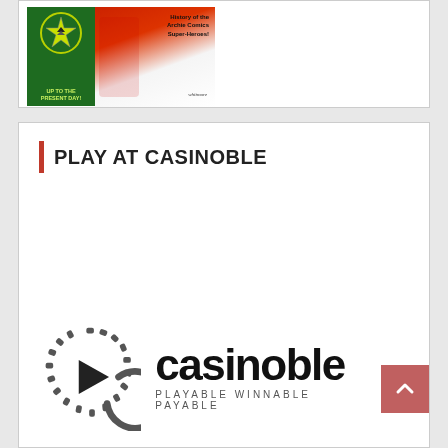[Figure (illustration): Top card showing comic book covers - green book with star badge and text 'UP TO THE PRESENT DAY!', and a red/white comic book about Archie Comics Super-Heroes]
PLAY AT CASINOBLE
[Figure (logo): Casinoble logo with circular play button icon made of dashed ring and C-shaped arc with play triangle inside, followed by wordmark 'casinoble' in bold black, and tagline 'PLAYABLE WINNABLE PAYABLE' below]
[Figure (other): Red scroll-to-top button with upward chevron arrow, positioned in lower right]